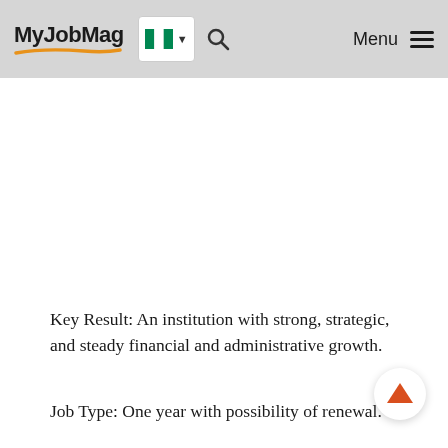MyJobMag | Menu
Key Result: An institution with strong, strategic, and steady financial and administrative growth.
Job Type: One year with possibility of renewal.